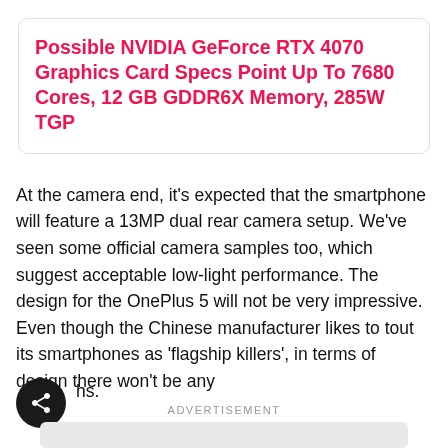Possible NVIDIA GeForce RTX 4070 Graphics Card Specs Point Up To 7680 Cores, 12 GB GDDR6X Memory, 285W TGP
At the camera end, it's expected that the smartphone will feature a 13MP dual rear camera setup. We've seen some official camera samples too, which suggest acceptable low-light performance. The design for the OnePlus 5 will not be very impressive. Even though the Chinese manufacturer likes to tout its smartphones as 'flagship killers', in terms of design there won't be any hs.
ADVERTISEMENT